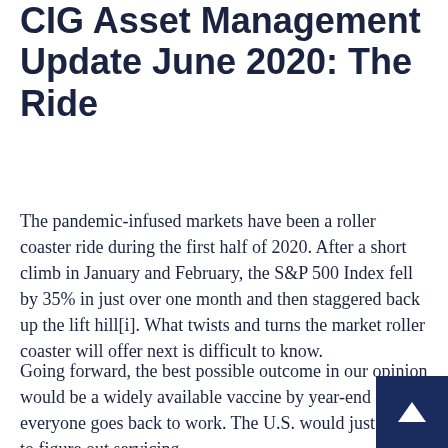CIG Asset Management Update June 2020: The Ride
The pandemic-infused markets have been a roller coaster ride during the first half of 2020. After a short climb in January and February, the S&P 500 Index fell by 35% in just over one month and then staggered back up the lift hill[i]. What twists and turns the market roller coaster will offer next is difficult to know.
Going forward, the best possible outcome in our opinion would be a widely available vaccine by year-end and everyone goes back to work. The U.S. would just need to figure out servicing...